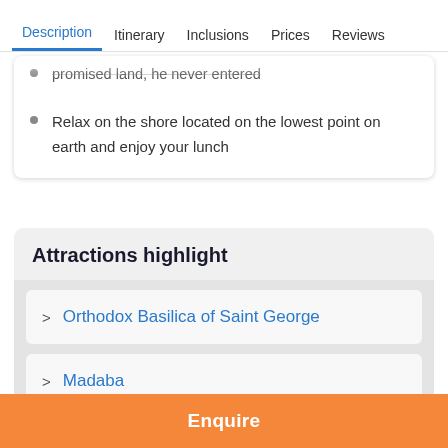Description  Itinerary  Inclusions  Prices  Reviews
promised land, he never entered
Relax on the shore located on the lowest point on earth and enjoy your lunch
Attractions highlight
Orthodox Basilica of Saint George
Madaba
Enquire